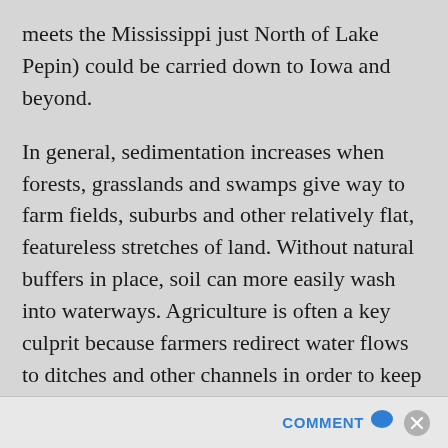meets the Mississippi just North of Lake Pepin) could be carried down to Iowa and beyond.
In general, sedimentation increases when forests, grasslands and swamps give way to farm fields, suburbs and other relatively flat, featureless stretches of land. Without natural buffers in place, soil can more easily wash into waterways. Agriculture is often a key culprit because farmers redirect water flows to ditches and other channels in order to keep their fields from over-hydrating. From these ditches, the excess farm runoff flows (too fast) into rivers and streams.
COMMENT ✕